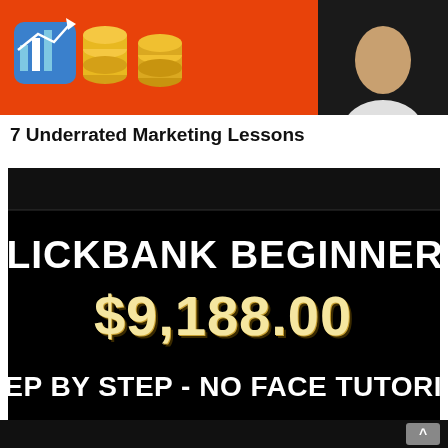[Figure (illustration): Orange banner image with chart icon, coin stack graphics, and person silhouette on right side]
7 Underrated Marketing Lessons
[Figure (illustration): Black promotional thumbnail card with text: CLICKBANK BEGINNERS, $9,188.00, STEP BY STEP - NO FACE TUTORIAL]